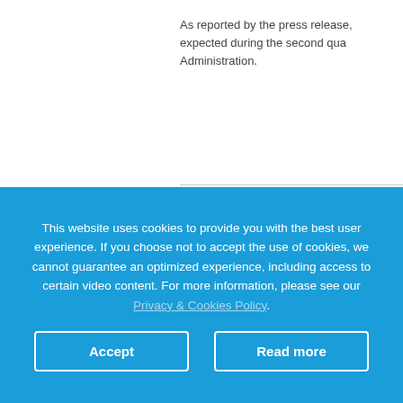As reported by the press release, expected during the second quarter Administration.
[Figure (photo): Close-up photo of a person's ear and neck area with a hearing aid or cochlear implant device visible]
This website uses cookies to provide you with the best user experience. If you choose not to accept the use of cookies, we cannot guarantee an optimized experience, including access to certain video content. For more information, please see our Privacy & Cookies Policy.
Accept
Read more